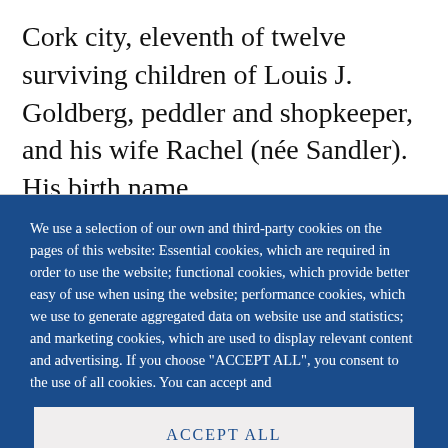Cork city, eleventh of twelve surviving children of Louis J. Goldberg, peddler and shopkeeper, and his wife Rachel (née Sandler). His birth name
We use a selection of our own and third-party cookies on the pages of this website: Essential cookies, which are required in order to use the website; functional cookies, which provide better easy of use when using the website; performance cookies, which we use to generate aggregated data on website use and statistics; and marketing cookies, which are used to display relevant content and advertising. If you choose "ACCEPT ALL", you consent to the use of all cookies. You can accept and
ACCEPT ALL